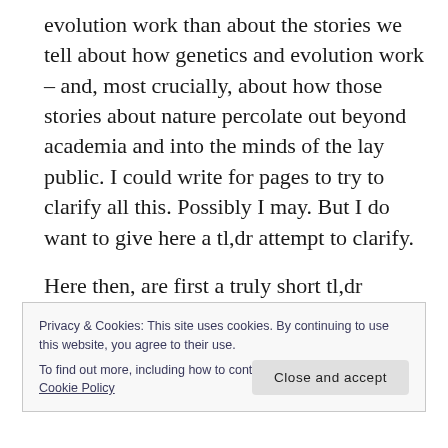evolution work than about the stories we tell about how genetics and evolution work – and, most crucially, about how those stories about nature percolate out beyond academia and into the minds of the lay public. I could write for pages to try to clarify all this. Possibly I may. But I do want to give here a tl,dr attempt to clarify.
Here then, are first a truly short tl,dr version of "Die, Selfish Gene, Die"; then one slightly longer; and a key passage from the original in which I
Privacy & Cookies: This site uses cookies. By continuing to use this website, you agree to their use.
To find out more, including how to control cookies, see here: Cookie Policy